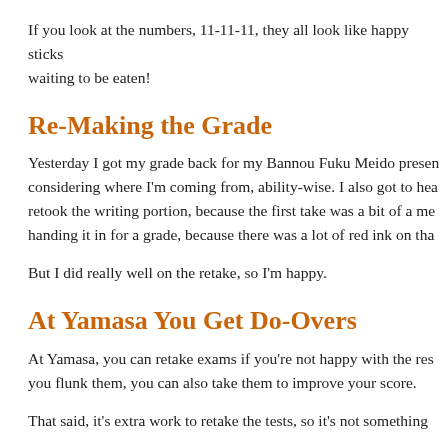If you look at the numbers, 11-11-11, they all look like happy sticks waiting to be eaten!
Re-Making the Grade
Yesterday I got my grade back for my Bannou Fuku Meido presentation, considering where I'm coming from, ability-wise. I also got to hear retook the writing portion, because the first take was a bit of a mess handing it in for a grade, because there was a lot of red ink on that
But I did really well on the retake, so I'm happy.
At Yamasa You Get Do-Overs
At Yamasa, you can retake exams if you're not happy with the results. If you flunk them, you can also take them to improve your score.
That said, it's extra work to retake the tests, so it's not something